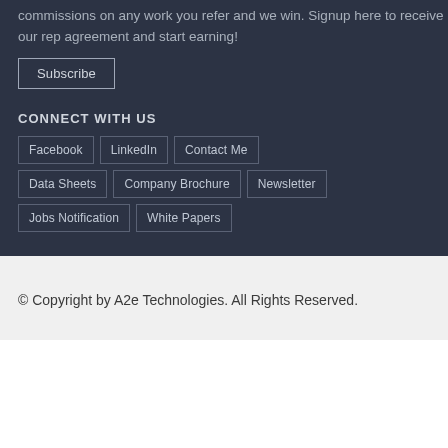commissions on any work you refer and we win. Signup here to receive our rep agreement and start earning!
Subscribe
CONNECT WITH US
Facebook
LinkedIn
Contact Me
Data Sheets
Company Brochure
Newsletter
Jobs Notification
White Papers
© Copyright by A2e Technologies. All Rights Reserved.